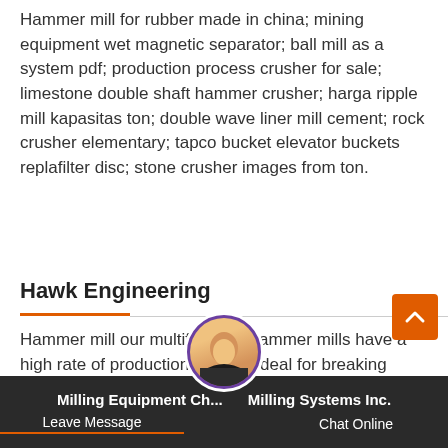Hammer mill for rubber made in china; mining equipment wet magnetic separator; ball mill as a system pdf; production process crusher for sale; limestone double shaft hammer crusher; harga ripple mill kapasitas ton; double wave liner mill cement; rock crusher elementary; tapco bucket elevator buckets replafilter disc; stone crusher images from ton.
Hawk Engineering
Hammer mill our multifunction hammer mills have a high rate of production and are ideal for breaking down oversized granular materials as well as preparing material for use as feedstock. they can grind different kinds of materials like corn, sorghum, wheat, beans, cottonseed meal, and cane
Milling Equipment Ch... | Milling Systems Inc.
Leave Message    Chat Online